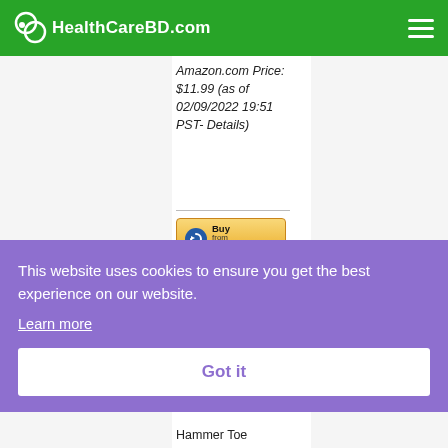HealthCareBD.com
Amazon.com Price: $11.99 (as of 02/09/2022 19:51 PST- Details)
[Figure (other): Buy from Amazon button with circular arrow icon]
≡ Details
This website uses cookies to ensure you get the best experience on our website.
Learn more
Got it
Hammer Toe